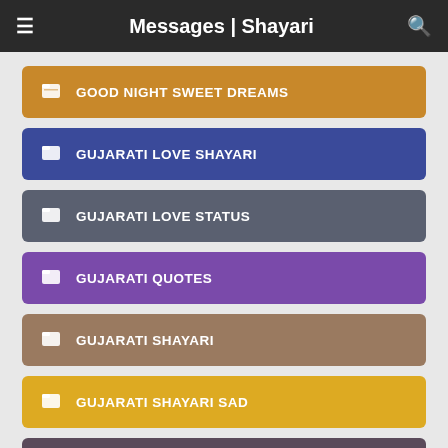Messages | Shayari
GOOD NIGHT SWEET DREAMS
GUJARATI LOVE SHAYARI
GUJARATI LOVE STATUS
GUJARATI QUOTES
GUJARATI SHAYARI
GUJARATI SHAYARI SAD
GUJARATI STATUS